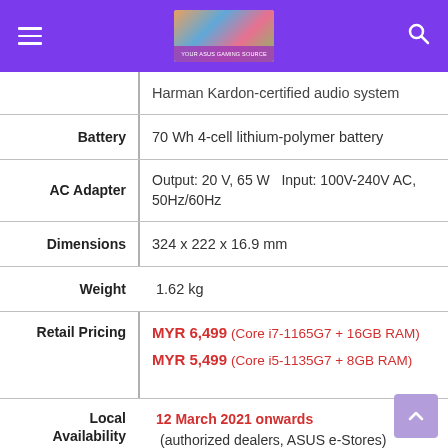Navigation header with menu, banner image, and search icon
| Spec | Value |
| --- | --- |
|  | Harman Kardon-certified audio system |
| Battery | 70 Wh 4-cell lithium-polymer battery |
| AC Adapter | Output: 20 V, 65 W   Input: 100V-240V AC, 50Hz/60Hz |
| Dimensions | 324 x 222 x 16.9 mm |
| Weight | 1.62 kg |
| Retail Pricing | MYR 6,499 (Core i7-1165G7 + 16GB RAM)
MYR 5,499 (Core i5-1135G7 + 8GB RAM) |
| Local Availability | 12 March 2021 onwards (authorized dealers, ASUS e-Stores) |